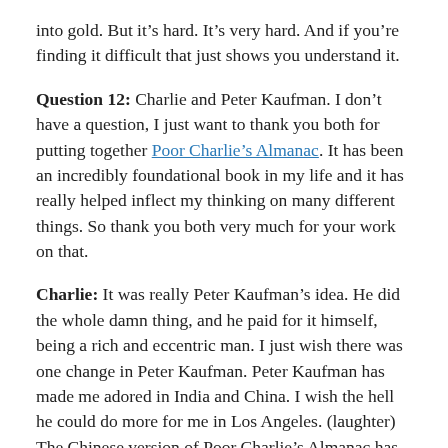into gold. But it's hard. It's very hard. And if you're finding it difficult that just shows you understand it.
Question 12: Charlie and Peter Kaufman. I don't have a question, I just want to thank you both for putting together Poor Charlie's Almanac. It has been an incredibly foundational book in my life and it has really helped inflect my thinking on many different things. So thank you both very much for your work on that.
Charlie: It was really Peter Kaufman's idea. He did the whole damn thing, and he paid for it himself, being a rich and eccentric man. I just wish there was one change in Peter Kaufman. Peter Kaufman has made me adored in India and China. I wish the hell he could do more for me in Los Angeles. (laughter) The Chinese version of Poor Charlie's Almanac has been pirated enormously in China. Totally pirated. But the legal sales are three hundred